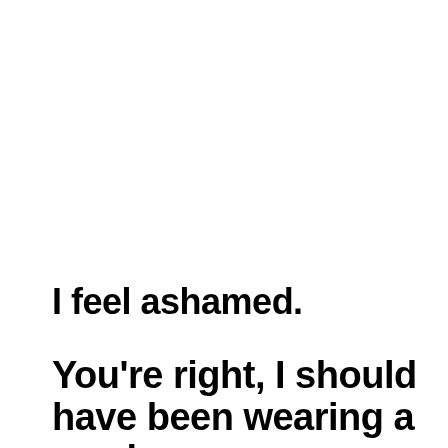I feel ashamed.
You're right, I should have been wearing a mask